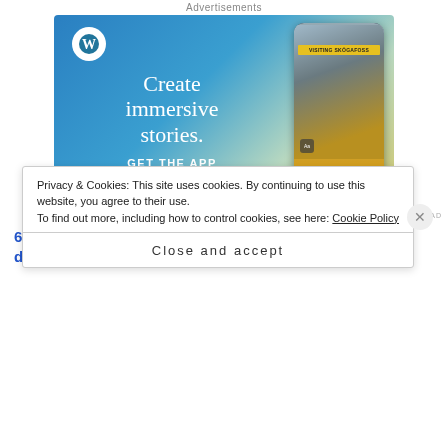Advertisements
[Figure (illustration): WordPress advertisement banner with gradient blue-to-yellow background. Left side shows WordPress circle logo and text 'Create immersive stories.' with 'GET THE APP' call to action. Right side shows a smartphone mockup with 'VISITING SKOGAFOSS' location tag and a person in yellow jacket looking up at a waterfall.]
REPORT THIS AD
6. Do you pick the people you're real to? If so, what determines your choice?
Privacy & Cookies: This site uses cookies. By continuing to use this website, you agree to their use.
To find out more, including how to control cookies, see here: Cookie Policy
Close and accept